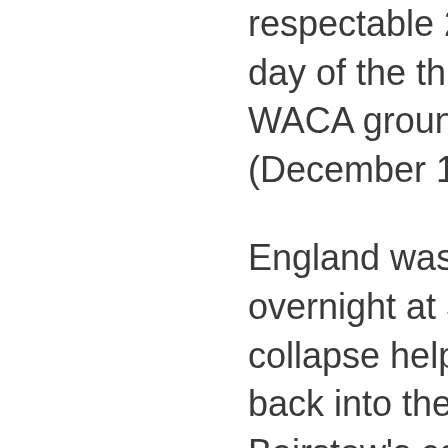respectable 203 for 3 on the second day of the third Ashes Test at the WACA ground in Perth on Friday (December 15).
England was in a strong position overnight at 304 for 4, but a familiar collapse helped Australia claw its way back into the contest despite Jonny Bairstow's century.
Dawid Malan, who scored his maiden Test century on the first day, and Bairstow seemed in total command of proceedings in the morning, guiding England